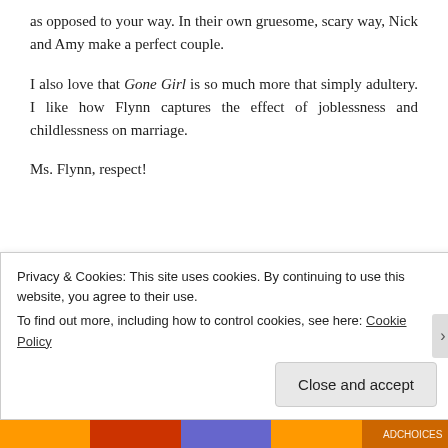as opposed to your way. In their own gruesome, scary way, Nick and Amy make a perfect couple.
I also love that Gone Girl is so much more that simply adultery. I like how Flynn captures the effect of joblessness and childlessness on marriage.
Ms. Flynn, respect!
This entry was posted in Book Reviews, General Musings and tagged book review, family, gone girl, marriage, thriller on January...
Privacy & Cookies: This site uses cookies. By continuing to use this website, you agree to their use.
To find out more, including how to control cookies, see here: Cookie Policy

Close and accept